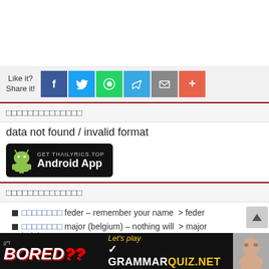[Figure (infographic): Social share bar with Like it? Share it! label and icons for Facebook, Twitter, WhatsApp, Telegram, Email, and More]
□□□□□□□□□□□□□□
data not found / invalid format
[Figure (other): Black button: GET THAILYRICS.TOP Android App with Android robot logo]
□□□□□□□□□□□□□□
□□□□□□□□ feder – remember your name  > feder
□□□□□□□□ major (belgium) – nothing will  > major belgium
[Figure (infographic): Advertisement banner: 'g*t BORED?? Let's play GRAMMARQUIZ.NET' with a face photo]